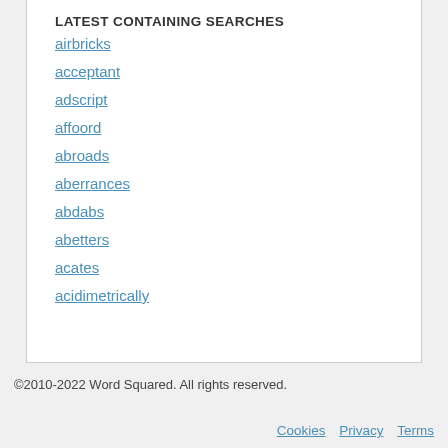LATEST CONTAINING SEARCHES
airbricks
acceptant
adscript
affoord
abroads
aberrances
abdabs
abetters
acates
acidimetrically
©2010-2022 Word Squared. All rights reserved.  Cookies  Privacy  Terms